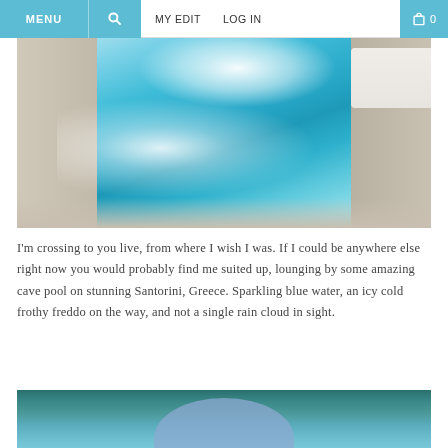MENU  [search icon]  MY EDIT  LOG IN  [cart icon] 0
[Figure (photo): Aerial view of a bright turquoise infinity pool at a luxury resort, with white lounging cushions on either side and sunlight reflecting off the water surface.]
I’m crossing to you live, from where I wish I was. If I could be anywhere else right now you would probably find me suited up, lounging by some amazing cave pool on stunning Santorini, Greece. Sparkling blue water, an icy cold frothy freddo on the way, and not a single rain cloud in sight.
[Figure (photo): Teal/aqua background with a large soft blue semi-circle shape emerging from the bottom center, partially visible, against a dark teal gradient backdrop.]